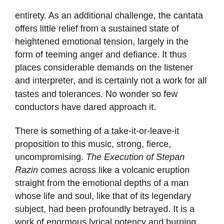entirety. As an additional challenge, the cantata offers little relief from a sustained state of heightened emotional tension, largely in the form of teeming anger and defiance. It thus places considerable demands on the listener and interpreter, and is certainly not a work for all tastes and tolerances. No wonder so few conductors have dared approach it.
There is something of a take-it-or-leave-it proposition to this music, strong, fierce, uncompromising. The Execution of Stepan Razin comes across like a volcanic eruption straight from the emotional depths of a man whose life and soul, like that of its legendary subject, had been profoundly betrayed. It is a work of enormous lyrical potency and burning conviction, a work quintessentially representative of Shostakovich.
Kondrashin's première recording of the work on Melodiya in 1965 (reissued in a 6-CD Kondrashin